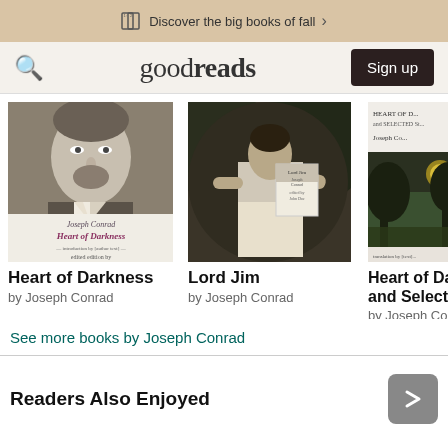Discover the big books of fall >
goodreads  Sign up
[Figure (photo): Book cover of Heart of Darkness by Joseph Conrad, showing a black and white portrait of Joseph Conrad]
Heart of Darkness
by Joseph Conrad
[Figure (photo): Book cover of Lord Jim by Joseph Conrad, showing a figure in jungle with a smaller inset book cover]
Lord Jim
by Joseph Conrad
[Figure (photo): Partial book cover of Heart of Darkness and Selected Stories by Joseph Conrad, showing a moody green landscape]
Heart of Darkness and Selected...
by Joseph Conrad
See more books by Joseph Conrad
Readers Also Enjoyed